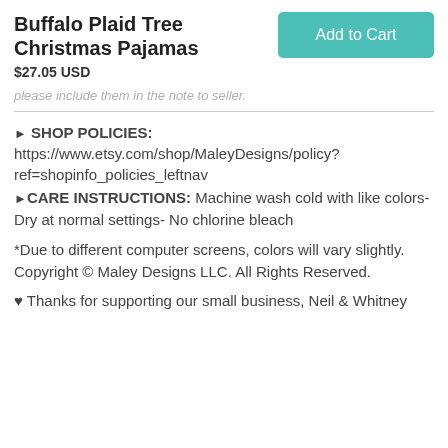Buffalo Plaid Tree Christmas Pajamas
$27.05 USD
please include them in the note to seller.
► SHOP POLICIES: https://www.etsy.com/shop/MaleyDesigns/policy?ref=shopinfo_policies_leftnav
► CARE INSTRUCTIONS: Machine wash cold with like colors- Dry at normal settings- No chlorine bleach
*Due to different computer screens, colors will vary slightly. Copyright © Maley Designs LLC. All Rights Reserved.
♥ Thanks for supporting our small business, Neil & Whitney